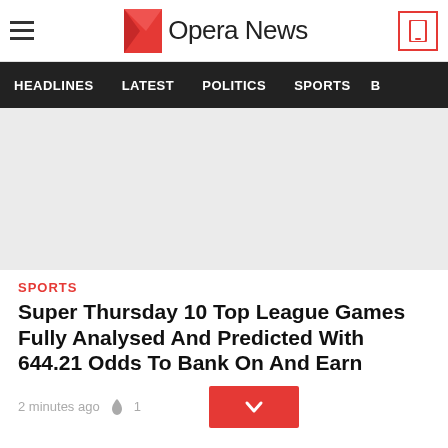Opera News
HEADLINES  LATEST  POLITICS  SPORTS  B
[Figure (photo): Light gray placeholder image for article]
SPORTS
Super Thursday 10 Top League Games Fully Analysed And Predicted With 644.21 Odds To Bank On And Earn
2 minutes ago  🔥 1